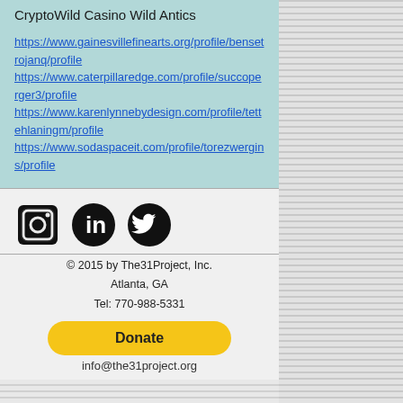CryptoWild Casino Wild Antics
https://www.gainesvillefinearts.org/profile/bensetrojanq/profile
https://www.caterpillaredge.com/profile/succoperger3/profile
https://www.karenlynnebydesign.com/profile/tettehlaningm/profile
https://www.sodaspaceit.com/profile/torezwergins/profile
[Figure (logo): Social media icons: Instagram, LinkedIn, Twitter (black circular icons)]
© 2015 by The31Project, Inc.
Atlanta, GA
Tel: 770-988-5331
[Figure (other): Donate button - yellow rounded rectangle with bold text 'Donate']
info@the31project.org